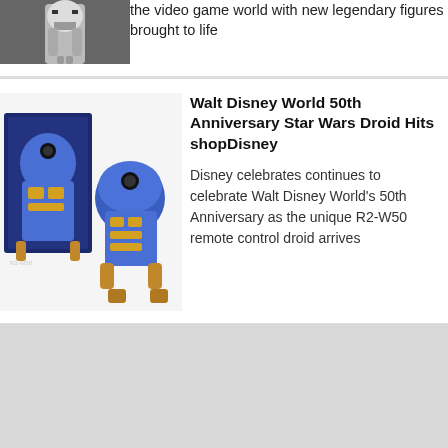[Figure (photo): Cropped image of a white stormtrooper figure on dark background]
the video game world with new legendary figures brought to life
[Figure (photo): Photo of Walt Disney World 50th Anniversary R2-W50 Star Wars droid toy, shown in box and standing outside box, blue and gold colored remote control droid]
Walt Disney World 50th Anniversary Star Wars Droid Hits shopDisney
Disney celebrates continues to celebrate Walt Disney World’s 50th Anniversary as the unique R2-W50 remote control droid arrives
[Figure (other): Gray advertisement or content placeholder block]
© 2021 Bleeding Cool | Contact Us | Privacy Policy